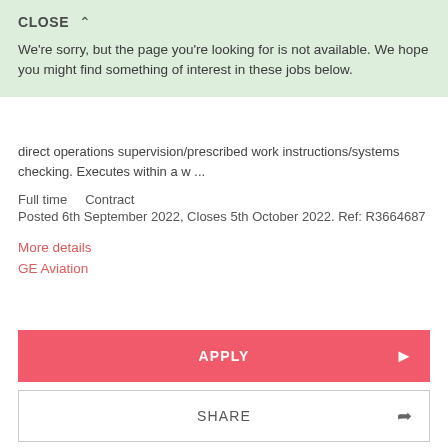CLOSE ∧
We're sorry, but the page you're looking for is not available. We hope you might find something of interest in these jobs below.
direct operations supervision/prescribed work instructions/systems checking. Executes within a w ...
Full time    Contract
Posted 6th September 2022, Closes 5th October 2022. Ref: R3664687
More details
GE Aviation
APPLY
SHARE
SAVE